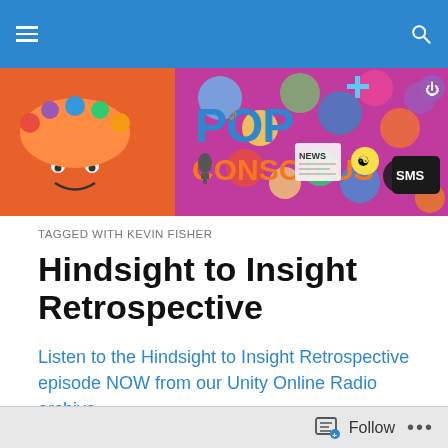[Figure (screenshot): Blue navigation bar with hamburger menu icon on left and search icon on right]
[Figure (illustration): Pop Conscious banner with colorful icons and logos for pop culture topics including music, news, SMS, religion symbols, and a stylized face]
TAGGED WITH KEVIN FISHER
Hindsight to Insight Retrospective
Listen to the Hindsight to Insight Retrospective episode NOW from our Unity Online Radio archive or download the podcast from iTunes
[Figure (screenshot): Follow bar at page bottom with follow icon and Follow text and three dots menu]